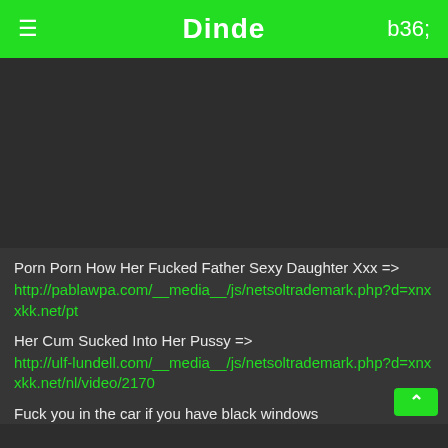Dinde
[Figure (other): Dark video/image placeholder area]
Porn Porn How Her Fucked Father Sexy Daughter Xxx =>
http://pablawpa.com/__media__/js/netsoltrademark.php?d=xnxxkk.net/pt
Her Cum Sucked Into Her Pussy =>
http://ulf-lundell.com/__media__/js/netsoltrademark.php?d=xnxxkk.net/nl/video/2170
Fuck you in the car if you have black windows